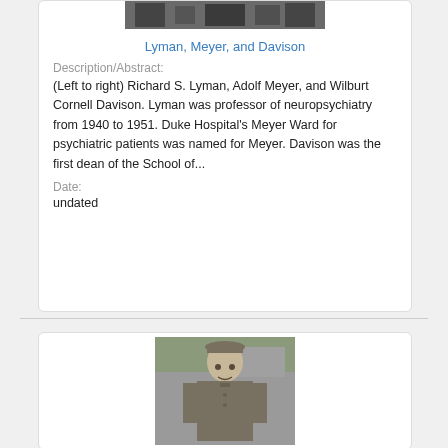[Figure (photo): Black and white photo of three men (Lyman, Meyer, and Davison) cropped at top]
Lyman, Meyer, and Davison
Description/Abstract:
(Left to right) Richard S. Lyman, Adolf Meyer, and Wilburt Cornell Davison. Lyman was professor of neuropsychiatry from 1940 to 1951. Duke Hospital's Meyer Ward for psychiatric patients was named for Meyer. Davison was the first dean of the School of...
Date:
undated
[Figure (photo): Black and white photo of a man in military uniform standing outdoors]